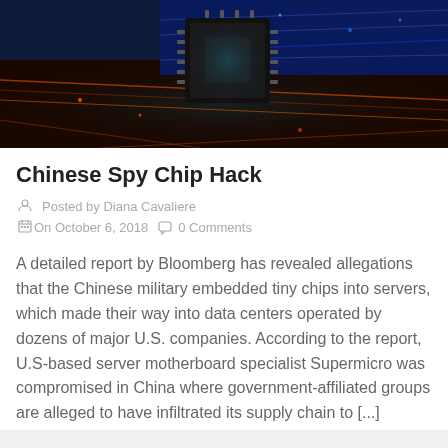[Figure (photo): Close-up photo of a computer circuit board/microchip with colorful circuitry in blues, reds, and oranges]
Chinese Spy Chip Hack
Posted by Diana Cavaliere
On October 6, 2018   0 Comments
A detailed report by Bloomberg has revealed allegations that the Chinese military embedded tiny chips into servers, which made their way into data centers operated by dozens of major U.S. companies. According to the report, U.S-based server motherboard specialist Supermicro was compromised in China where government-affiliated groups are alleged to have infiltrated its supply chain to [...]
READ MORE